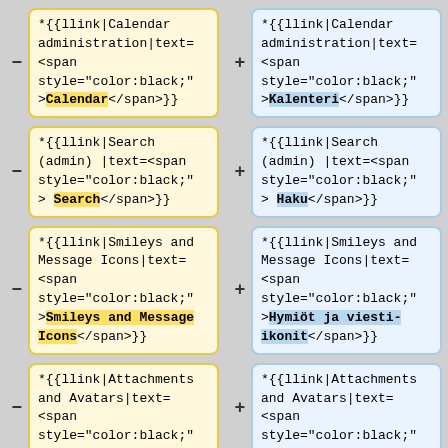- *{{llink|Calendar administration|text=<span style="color:black;">Calendar</span>}}
+ *{{llink|Calendar administration|text=<span style="color:black;">Kalenteri</span>}}
- *{{llink|Search (admin) |text=<span style="color:black;"> Search</span>}}
+ *{{llink|Search (admin) |text=<span style="color:black;"> Haku</span>}}
- *{{llink|Smileys and Message Icons|text=<span style="color:black;">Smileys and Message Icons</span>}}
+ *{{llink|Smileys and Message Icons|text=<span style="color:black;">Hymiöt ja viesti-ikonit</span>}}
- *{{llink|Attachments and Avatars|text=<span style="color:black;">
+ *{{llink|Attachments and Avatars|text=<span style="color:black;">